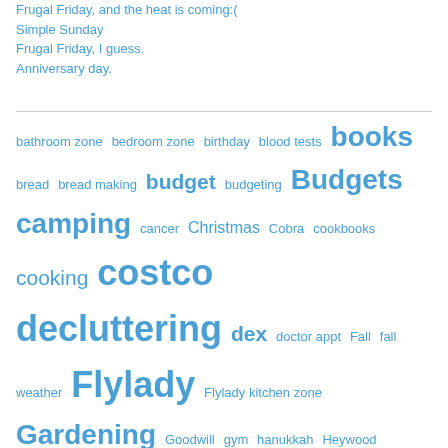Frugal Friday, and the heat is coming:(
Simple Sunday
Frugal Friday, I guess.
Anniversary day.
bathroom zone bedroom zone birthday blood tests books bread bread making budget budgeting Budgets camping cancer Christmas Cobra cookbooks cooking costco decluttering dex doctor appt Fall fall weather Flylady Flylady kitchen zone Gardening Goodwill gym hanukkah Heywood Wakefield hot weather ikea just keep walking project kappa light chains kitchen zone labs Lake tahoe library life LLS medicare menus minimalism money M protein Myeloma painting Pizza …